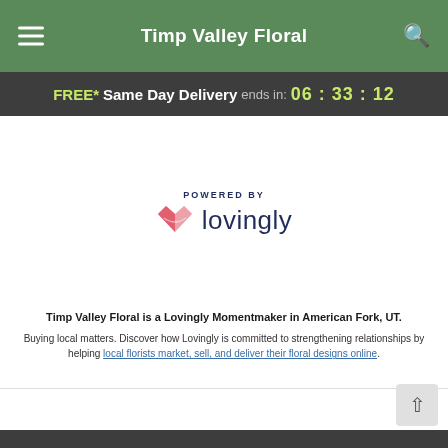Timp Valley Floral
FREE* Same Day Delivery ends in: 06 : 33 : 12
[Figure (logo): Lovingly logo with pink/red heart-book icon and 'lovingly' wordmark in dark navy, preceded by 'POWERED BY' label]
Timp Valley Floral is a Lovingly Momentmaker in American Fork, UT.
Buying local matters. Discover how Lovingly is committed to strengthening relationships by helping local florists market, sell, and deliver their floral designs online.